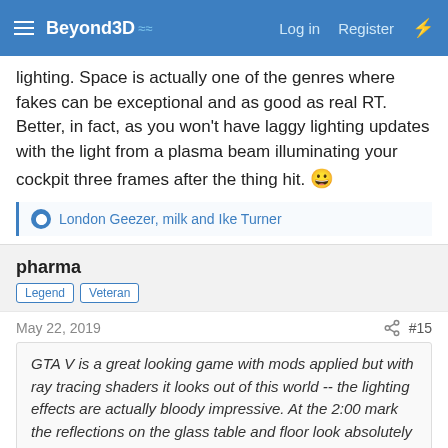Beyond3D | Log in | Register
lighting. Space is actually one of the genres where fakes can be exceptional and as good as real RT. Better, in fact, as you won't have laggy lighting updates with the light from a plasma beam illuminating your cockpit three frames after the thing hit. 😀
London Geezer, milk and Ike Turner
pharma
Legend | Veteran
May 22, 2019  #15
GTA V is a great looking game with mods applied but with ray tracing shaders it looks out of this world -- the lighting effects are actually bloody impressive. At the 2:00 mark the reflections on the glass table and floor look absolutely incredible, but it is the 2:21 mark when the sunlight is hitting the green Lamborghini and as the sun passes over the cars it lights up the white Lambo next to it with the